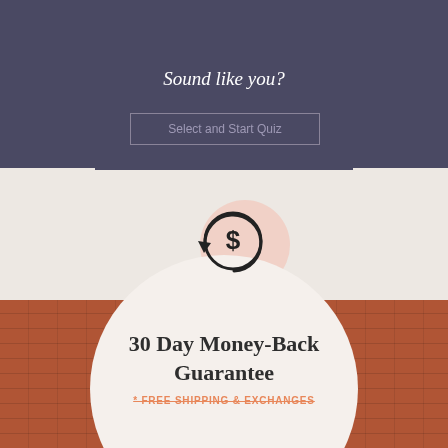Sound like you?
Select and Start Quiz
[Figure (illustration): Circular money-back guarantee icon: a dollar sign coin with a circular arrow, pink blush circle behind it]
30 Day Money-Back Guarantee
* FREE SHIPPING & EXCHANGES
[Figure (photo): Two people wearing casual clothing (teal/green and purple/grey) standing in front of a red brick wall]